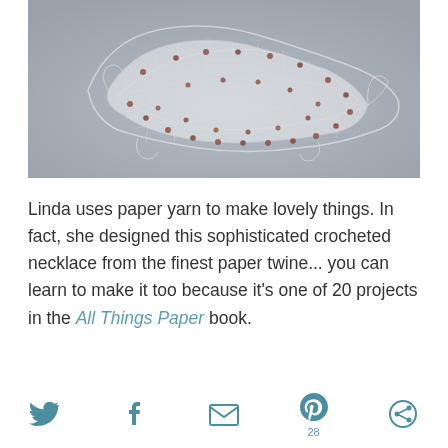[Figure (photo): Close-up photo of a delicate crocheted necklace made from fine paper twine with small reddish-brown beads, laid on a gray surface.]
Linda uses paper yarn to make lovely things. In fact, she designed this sophisticated crocheted necklace from the finest paper twine... you can learn to make it too because it's one of 20 projects in the All Things Paper book.
[Figure (infographic): Social sharing icons bar: Twitter bird icon, Facebook f icon, Email envelope icon, Pinterest P icon with count 28, and a circular share icon.]